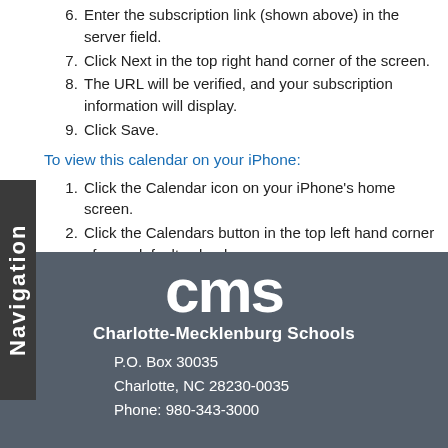6. Enter the subscription link (shown above) in the server field.
7. Click Next in the top right hand corner of the screen.
8. The URL will be verified, and your subscription information will display.
9. Click Save.
To view this calendar on your iPhone:
1. Click the Calendar icon on your iPhone's home screen.
2. Click the Calendars button in the top left hand corner of your default calendar screen.
3. Select the name of the calendar you have just added. A check mark will appear next to it.
4. Click Done.
[Figure (logo): CMS Charlotte-Mecklenburg Schools logo in white on dark gray background]
P.O. Box 30035
Charlotte, NC 28230-0035
Phone: 980-343-3000